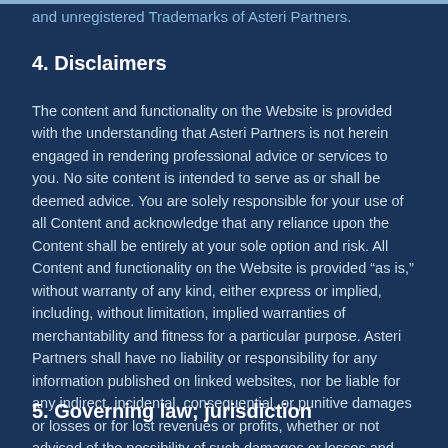and unregistered Trademarks of Asteri Partners.
4. Disclaimers
The content and functionality on the Website is provided with the understanding that Asteri Partners is not herein engaged in rendering professional advice or services to you. No site content is intended to serve as or shall be deemed advice. You are solely responsible for your use of all Content and acknowledge that any reliance upon the Content shall be entirely at your sole option and risk. All Content and functionality on the Website is provided “as is,” without warranty of any kind, either express or implied, including, without limitation, implied warranties of merchantability and fitness for a particular purpose. Asteri Partners shall have no liability or responsibility for any information published on linked websites, nor be liable for any indirect, incidental, consequential, or punitive damages or losses or for lost revenues or profits, whether or not advised of the possibility of such damages or losses and regardless of the theory of liability.
5. Governing law; jurisdiction